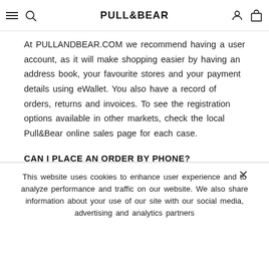PULL&BEAR
At PULLANDBEAR.COM we recommend having a user account, as it will make shopping easier by having an address book, your favourite stores and your payment details using eWallet. You also have a record of orders, returns and invoices. To see the registration options available in other markets, check the local Pull&Bear online sales page for each case.
CAN I PLACE AN ORDER BY PHONE?
No. You will have to place the order and make the payment online.
This website uses cookies to enhance user experience and to analyze performance and traffic on our website. We also share information about your use of our site with our social media, advertising and analytics partners